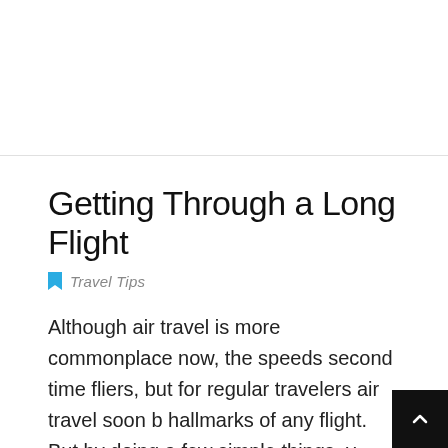Getting Through a Long Flight
Travel Tips
Although air travel is more commonplace now, the speeds second time fliers, but for regular travelers air travel soon b hallmarks of any flight. But by doing a few simple things, y keep you occupied. Pocketbooks are better suited f s reading. Break the reading with short naps and by li ne